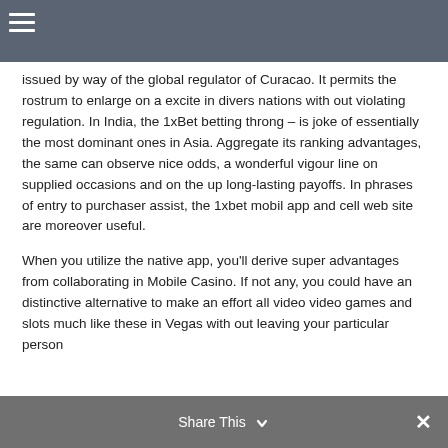issued by way of the global regulator of Curacao. It permits the rostrum to enlarge on a excite in divers nations with out violating regulation. In India, the 1xBet betting throng – is joke of essentially the most dominant ones in Asia. Aggregate its ranking advantages, the same can observe nice odds, a wonderful vigour line on supplied occasions and on the up long-lasting payoffs. In phrases of entry to purchaser assist, the 1xbet mobil app and cell web site are moreover useful.
When you utilize the native app, you'll derive super advantages from collaborating in Mobile Casino. If not any, you could have an distinctive alternative to make an effort all video video games and slots much like these in Vegas with out leaving your particular person
Share This ×